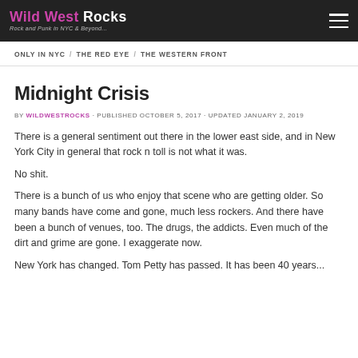Wild West Rocks — Rock and Punk in NYC & Beyond...
ONLY IN NYC / THE RED EYE / THE WESTERN FRONT
Midnight Crisis
BY WILDWESTROCKS · PUBLISHED OCTOBER 5, 2017 · UPDATED JANUARY 2, 2019
There is a general sentiment out there in the lower east side, and in New York City in general that rock n toll is not what it was.
No shit.
There is a bunch of us who enjoy that scene who are getting older. So many bands have come and gone, much less rockers. And there have been a bunch of venues, too. The drugs, the addicts. Even much of the dirt and grime are gone. I exaggerate now.
New York has changed. Tom Petty has passed. It has been 40 years...